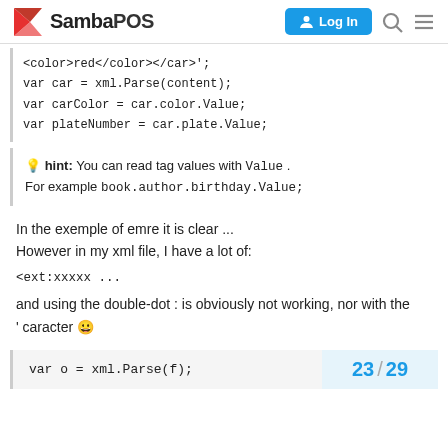SambaPOS — Log In
<color>red</color></car>';
var car = xml.Parse(content);
var carColor = car.color.Value;
var plateNumber = car.plate.Value;
💡 hint: You can read tag values with Value . For example book.author.birthday.Value;
In the exemple of emre it is clear ...
However in my xml file, I have a lot of:
<ext:xxxxx ...
and using the double-dot : is obviously not working, nor with the ' caracter 😀
var o = xml.Parse(f);